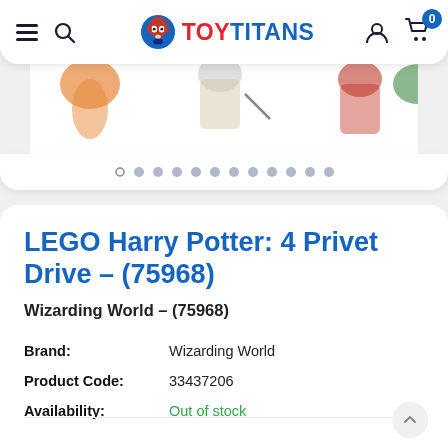[Figure (screenshot): Toy Titans website navigation bar with hamburger menu, search icon, logo with toy robot mascot, user icon, and cart icon showing 0 items]
[Figure (photo): Partial product image strip showing LEGO Harry Potter figures at the top of the page, with dot pagination indicators below]
LEGO Harry Potter: 4 Privet Drive – (75968)
Wizarding World – (75968)
Brand: Wizarding World
Product Code: 33437206
Availability: Out of stock